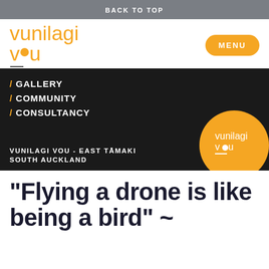BACK TO TOP
[Figure (logo): Vunilagi Vou logo in orange with dot replacing 'o' in 'vou', with 'MENU' button top right]
[Figure (infographic): Dark banner with / GALLERY / COMMUNITY / CONSULTANCY navigation text on left, orange circle logo on right, and VUNILAGI VOU - EAST TĀMAKI SOUTH AUCKLAND text at bottom]
“Flying a drone is like being a bird” ~